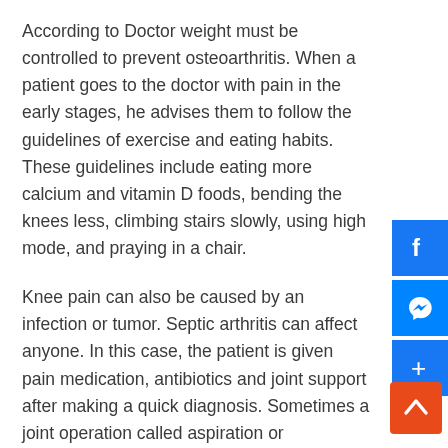According to Doctor weight must be controlled to prevent osteoarthritis. When a patient goes to the doctor with pain in the early stages, he advises them to follow the guidelines of exercise and eating habits. These guidelines include eating more calcium and vitamin D foods, bending the knees less, climbing stairs slowly, using high mode, and praying in a chair.
Knee pain can also be caused by an infection or tumor. Septic arthritis can affect anyone. In this case, the patient is given pain medication, antibiotics and joint support after making a quick diagnosis. Sometimes a joint operation called aspiration or orthodomy is performed on the joint, said the specialist.
The knee joint is now undergoing advanced